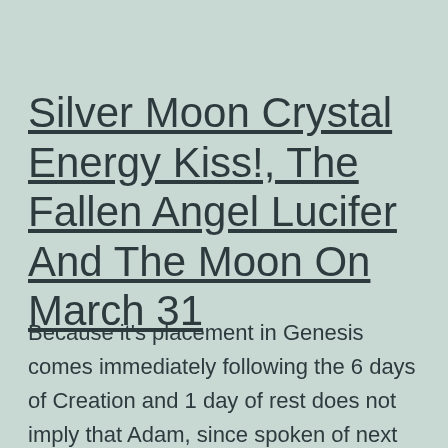Silver Moon Crystal Energy Kiss!, The Fallen Angel Lucifer And The Moon On March 31
Because it's placement in Genesis comes immediately following the 6 days of Creation and 1 day of rest does not imply that Adam, since spoken of next have to be the first man. Lucifer means Light Bearer and was the name